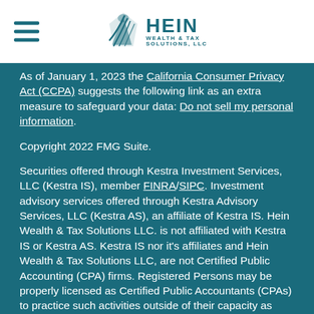Hein Wealth & Tax Solutions, LLC
As of January 1, 2023 the California Consumer Privacy Act (CCPA) suggests the following link as an extra measure to safeguard your data: Do not sell my personal information.
Copyright 2022 FMG Suite.
Securities offered through Kestra Investment Services, LLC (Kestra IS), member FINRA/SIPC. Investment advisory services offered through Kestra Advisory Services, LLC (Kestra AS), an affiliate of Kestra IS. Hein Wealth & Tax Solutions LLC. is not affiliated with Kestra IS or Kestra AS. Kestra IS nor it's affiliates and Hein Wealth & Tax Solutions LLC, are not Certified Public Accounting (CPA) firms. Registered Persons may be properly licensed as Certified Public Accountants (CPAs) to practice such activities outside of their capacity as Registered Persons. Neither Kestra IS nor it's affiliates